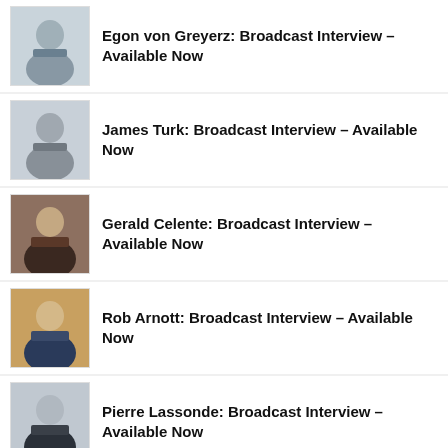Egon von Greyerz: Broadcast Interview – Available Now
James Turk: Broadcast Interview – Available Now
Gerald Celente: Broadcast Interview – Available Now
Rob Arnott: Broadcast Interview – Available Now
Pierre Lassonde: Broadcast Interview – Available Now